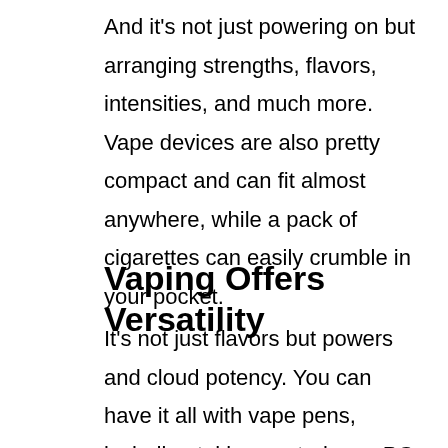And it's not just powering on but arranging strengths, flavors, intensities, and much more. Vape devices are also pretty compact and can fit almost anywhere, while a pack of cigarettes can easily crumble in your pocket.
Vaping Offers Versatility
It's not just flavors but powers and cloud potency. You can have it all with vape pens, including taking control over PG and VG rations